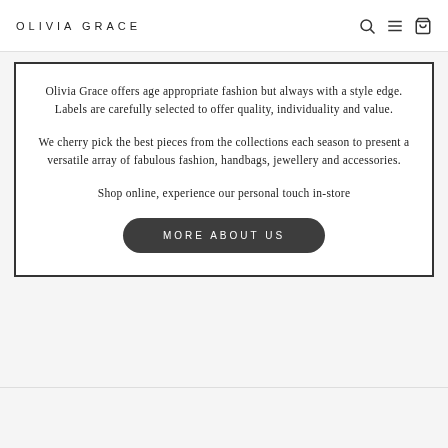OLIVIA GRACE
Olivia Grace offers age appropriate fashion but always with a style edge. Labels are carefully selected to offer quality, individuality and value.
We cherry pick the best pieces from the collections each season to present a versatile array of fabulous fashion, handbags, jewellery and accessories.
Shop online, experience our personal touch in-store
MORE ABOUT US